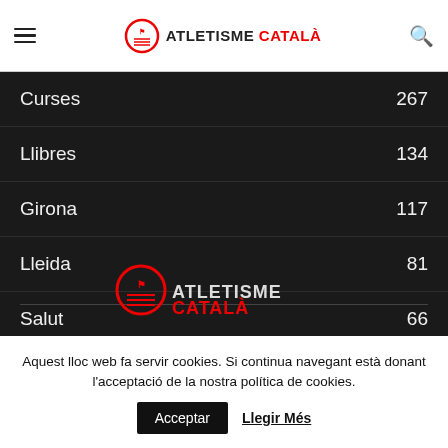Atletisme Català
Curses 267
Llibres 134
Girona 117
Lleida 81
Salut 66
[Figure (logo): Atletisme Català logo with red circular icon and text]
Aquest lloc web fa servir cookies. Si continua navegant està donant l'acceptació de la nostra política de cookies.
Acceptar  Llegir Més